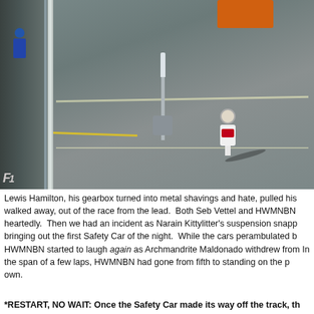[Figure (photo): Aerial view of Formula 1 pit lane area showing a driver in white race suit with red Vodafone logo walking on the track after retiring from the race. Fencing, barriers, orange equipment, and track markings are visible. F1 logo watermark in bottom left corner.]
Lewis Hamilton, his gearbox turned into metal shavings and hate, pulled his walked away, out of the race from the lead.  Both Seb Vettel and HWMNBN heartedly.  Then we had an incident as Narain Kittylitter's suspension snapp bringing out the first Safety Car of the night.  While the cars perambulated b HWMNBN started to laugh again as Archmandrite Maldonado withdrew from In the span of a few laps, HWMNBN had gone from fifth to standing on the p own.
*RESTART, NO WAIT: Once the Safety Car made its way off the track, th